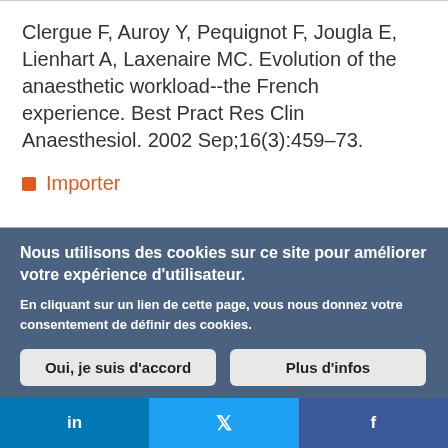Clergue F, Auroy Y, Pequignot F, Jougla E, Lienhart A, Laxenaire MC. Evolution of the anaesthetic workload--the French experience. Best Pract Res Clin Anaesthesiol. 2002 Sep;16(3):459–73.
Importer
Nous utilisons des cookies sur ce site pour améliorer votre expérience d'utilisateur.
En cliquant sur un lien de cette page, vous nous donnez votre consentement de définir des cookies.
Oui, je suis d'accord
Plus d'infos
in   f